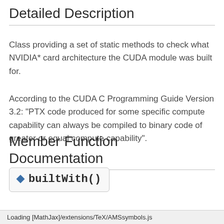Detailed Description
Class providing a set of static methods to check what NVIDIA* card architecture the CUDA module was built for.
According to the CUDA C Programming Guide Version 3.2: "PTX code produced for some specific compute capability can always be compiled to binary code of greater or equal compute capability".
Member Function Documentation
◆ builtWith()
Loading [MathJax]/extensions/TeX/AMSsymbols.js